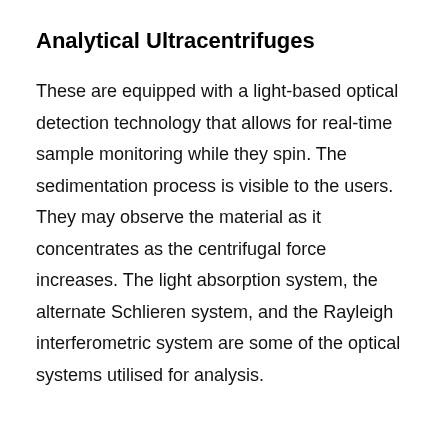Analytical Ultracentrifuges
These are equipped with a light-based optical detection technology that allows for real-time sample monitoring while they spin. The sedimentation process is visible to the users. They may observe the material as it concentrates as the centrifugal force increases. The light absorption system, the alternate Schlieren system, and the Rayleigh interferometric system are some of the optical systems utilised for analysis.